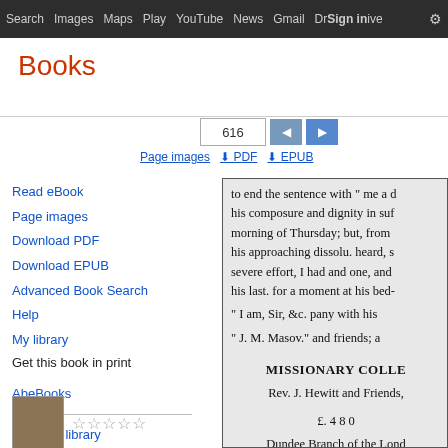Search  Images  Maps  Play  YouTube  News  Gmail  Drive  More  Sign In
Books
616
Page images
PDF
EPUB
Read eBook
Page images
Download PDF
Download EPUB
Advanced Book Search
Help
My library
Get this book in print
AbeBooks
Find in a library
All sellers »
[Figure (screenshot): Scanned book page showing text content including: 'to end the sentence with " me a d', 'his composure and dignity in suf', 'morning of Thursday; but, from', 'his approaching dissolu. heard, s', 'severe effort, I had and one, and', 'his last. for a moment at his bed-', '" I am, Sir, &c. pany with his', '" J. M. Masov." and friends; a', 'MISSIONARY COLLE', 'Rev. J. Hewitt and Friends,', '£. 4 8 0', 'Dundee Branch of the Lond']